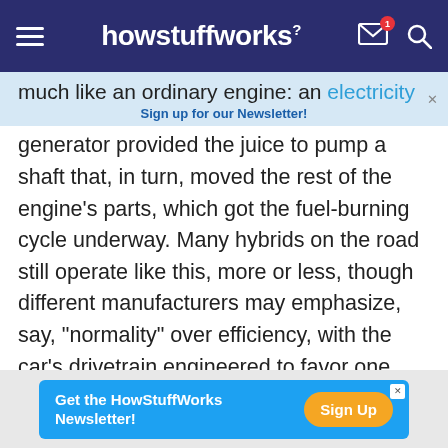howstuffworks
much like an ordinary engine: an electricity generator provided the juice to pump a shaft that, in turn, moved the rest of the engine's parts, which got the fuel-burning cycle underway. Many hybrids on the road still operate like this, more or less, though different manufacturers may emphasize, say, "normality" over efficiency, with the car's drivetrain engineered to favor one power source as opposed to the other. (Though hybrid technology's come a long way in just a few years, the basic layout options haven't changed much.)
[Figure (screenshot): Advertisement banner: Get the HowStuffWorks Newsletter! with Sign Up button]